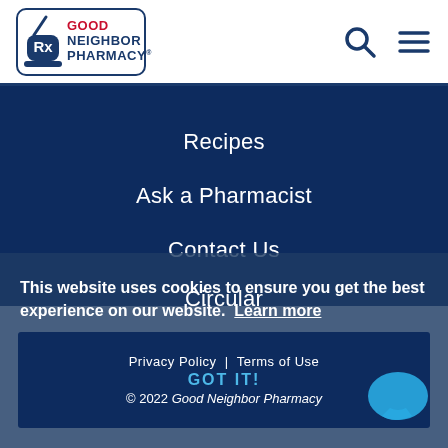[Figure (logo): Good Neighbor Pharmacy logo with mortar and pestle icon, Rx symbol, and brand name in red and navy blue]
Recipes
Ask a Pharmacist
Contact Us
Circular
My GNP Mobile App
This website uses cookies to ensure you get the best experience on our website.  Learn more
Privacy Policy  |  Terms of Use
GOT IT!
© 2022 Good Neighbor Pharmacy